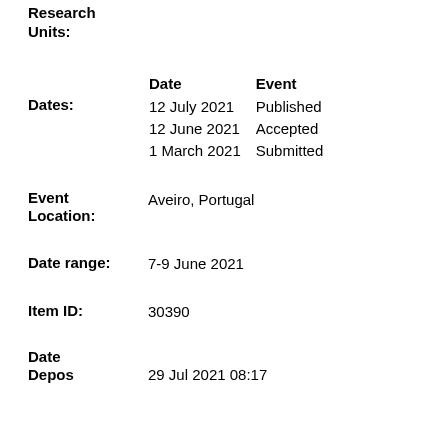Research Units:
| Date | Event |
| --- | --- |
| 12 July 2021 | Published |
| 12 June 2021 | Accepted |
| 1 March 2021 | Submitted |
Dates:
Event Location: Aveiro, Portugal
Date range: 7-9 June 2021
Item ID: 30390
Date Deposited: 29 Jul 2021 08:17